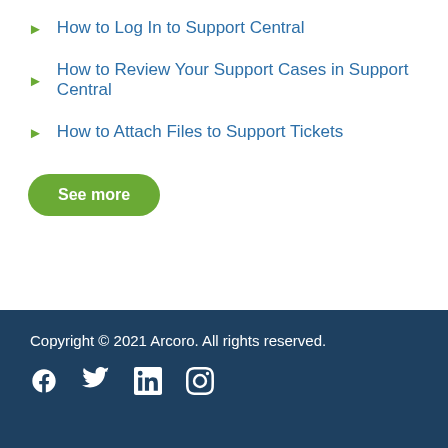How to Log In to Support Central
How to Review Your Support Cases in Support Central
How to Attach Files to Support Tickets
See more
Copyright © 2021 Arcoro. All rights reserved.